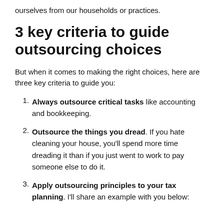ourselves from our households or practices.
3 key criteria to guide outsourcing choices
But when it comes to making the right choices, here are three key criteria to guide you:
Always outsource critical tasks like accounting and bookkeeping.
Outsource the things you dread. If you hate cleaning your house, you'll spend more time dreading it than if you just went to work to pay someone else to do it.
Apply outsourcing principles to your tax planning. I'll share an example with you below: